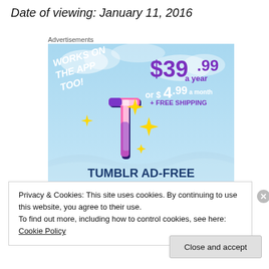Date of viewing: January 11, 2016
Advertisements
[Figure (illustration): Tumblr Ad-Free Browsing advertisement. Shows Tumblr 't' logo with sparkles on a blue sky background. Text: 'WORKS ON THE APP TOO!' in white, '$39.99 a year' in purple, 'or $4.99 a month' in white, '+ FREE SHIPPING' in purple, 'TUMBLR AD-FREE BROWSING' in dark blue at bottom.]
Privacy & Cookies: This site uses cookies. By continuing to use this website, you agree to their use.
To find out more, including how to control cookies, see here: Cookie Policy
Close and accept